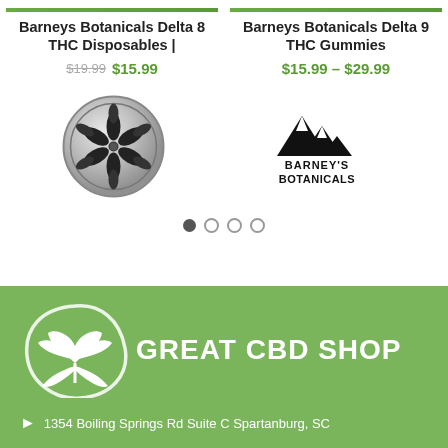Barneys Botanicals Delta 8 THC Disposables |
$19.99 $15.99
Barneys Botanicals Delta 9 THC Gummies
$15.99 – $29.99
[Figure (logo): Round silver badge with cannabis leaf / snowflake design in black]
[Figure (logo): Barney's Botanicals logo with mountain peaks and brand name]
[Figure (other): Carousel navigation dots: one filled, three empty]
[Figure (logo): Great CBD Shop logo: white leaf/plant illustration in partial circle with text GREAT CBD SHOP]
1354 Boiling Springs Rd Suite C Spartanburg, SC